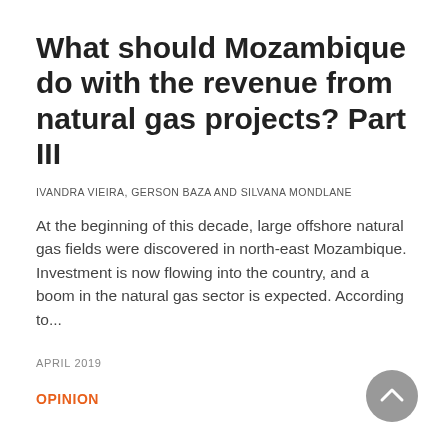What should Mozambique do with the revenue from natural gas projects? Part III
IVANDRA VIEIRA, GERSON BAZA AND SILVANA MONDLANE
At the beginning of this decade, large offshore natural gas fields were discovered in north-east Mozambique. Investment is now flowing into the country, and a boom in the natural gas sector is expected. According to...
APRIL 2019
OPINION